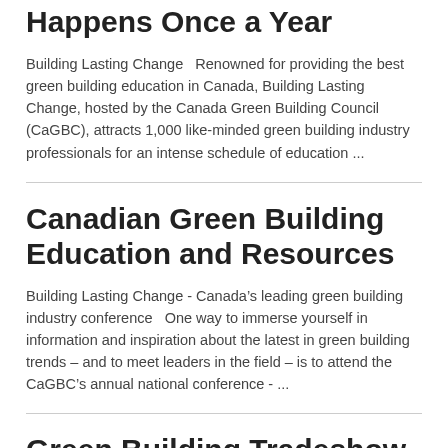Happens Once a Year
Building Lasting Change   Renowned for providing the best green building education in Canada, Building Lasting Change, hosted by the Canada Green Building Council (CaGBC), attracts 1,000 like-minded green building industry professionals for an intense schedule of education ...
Canadian Green Building Education and Resources
Building Lasting Change - Canada’s leading green building industry conference   One way to immerse yourself in information and inspiration about the latest in green building trends – and to meet leaders in the field – is to attend the CaGBC’s annual national conference - ...
Green Building Tradeshow – Showcasing Canada's best green products and services